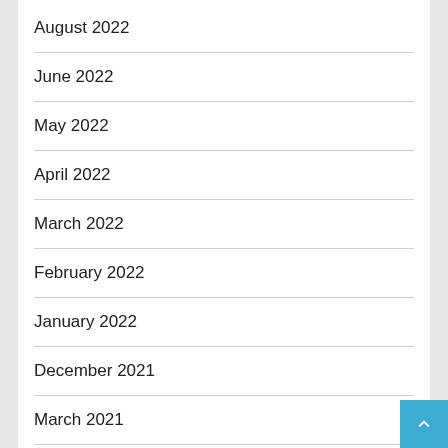August 2022
June 2022
May 2022
April 2022
March 2022
February 2022
January 2022
December 2021
March 2021